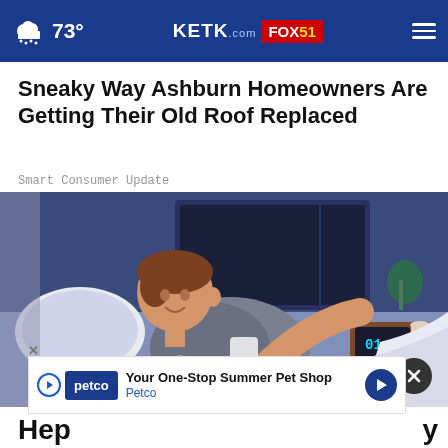73° KETK.com FOX51
Sneaky Way Ashburn Homeowners Are Getting Their Old Roof Replaced
Smart Consumer Update
[Figure (illustration): Cartoon illustration of a young man lying on a bed looking at his phone, with a nightstand showing a clock reading 01:37 and a plant in the background]
Your One-Stop Summer Pet Shop
Petco
Hep...y